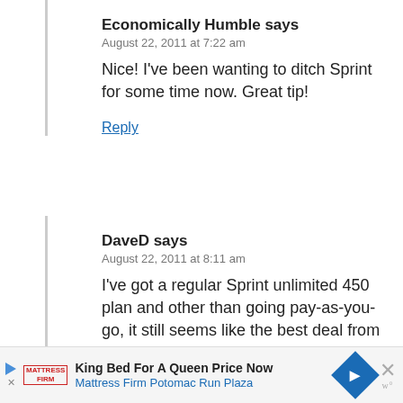Economically Humble says
August 22, 2011 at 7:22 am
Nice! I've been wanting to ditch Sprint for some time now. Great tip!
Reply
DaveD says
August 22, 2011 at 8:11 am
I've got a regular Sprint unlimited 450 plan and other than going pay-as-you-go, it still seems like the best deal from the big 4 carriers unless I'm missing something?
Reply
[Figure (infographic): Advertisement banner: King Bed For A Queen Price Now - Mattress Firm Potomac Run Plaza, with blue diamond navigation icon and dismiss X button]